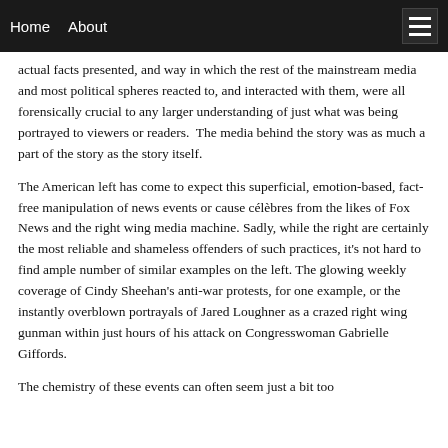Home   About
actual facts presented, and way in which the rest of the mainstream media and most political spheres reacted to, and interacted with them, were all forensically crucial to any larger understanding of just what was being portrayed to viewers or readers.  The media behind the story was as much a part of the story as the story itself.
The American left has come to expect this superficial, emotion-based, fact-free manipulation of news events or cause célèbres from the likes of Fox News and the right wing media machine. Sadly, while the right are certainly the most reliable and shameless offenders of such practices, it's not hard to find ample number of similar examples on the left. The glowing weekly coverage of Cindy Sheehan's anti-war protests, for one example, or the instantly overblown portrayals of Jared Loughner as a crazed right wing gunman within just hours of his attack on Congresswoman Gabrielle Giffords.
The chemistry of these events can often seem just a bit too